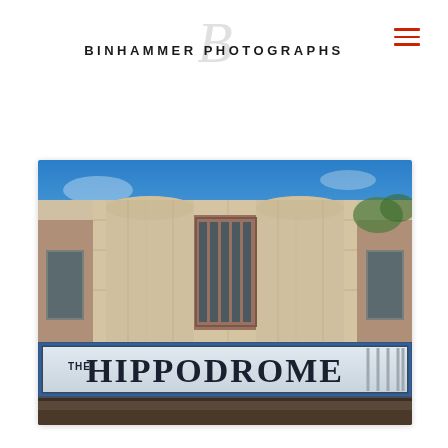BINHAMMER PHOTOGRAPHS
[Figure (photo): Exterior photograph of The Hippodrome theatre building. The Art Deco facade features two large cylindrical tower columns flanking tall vertical windows set in brick. A marquee at the bottom reads 'THE HIPPODROME' in bold black lettering. The sky above is bright blue.]